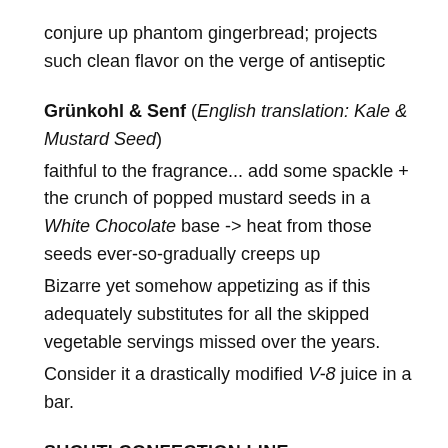conjure up phantom gingerbread; projects such clean flavor on the verge of antiseptic
Grünkohl & Senf (English translation: Kale & Mustard Seed)
faithful to the fragrance... add some spackle + the crunch of popped mustard seeds in a White Chocolate base -> heat from those seeds ever-so-gradually creeps up
Bizarre yet somehow appetizing as if this adequately substitutes for all the skipped vegetable servings missed over the years.
Consider it a drastically modified V-8 juice in a bar.
SUCHTI CONFECTION LINE
Cashes in Kaffee - the finest ingredients makes for the best...